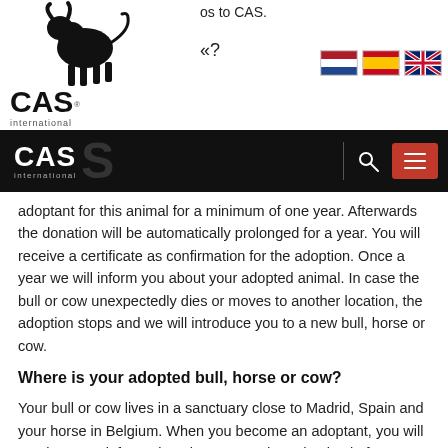[Figure (logo): CAS International logo with black bull silhouette above text 'CAS international']
[Figure (illustration): Dutch, Spanish, and UK flag icons for language selection]
CAS international navigation bar with search icon and menu button
adoptant for this animal for a minimum of one year. Afterwards the donation will be automatically prolonged for a year. You will receive a certificate as confirmation for the adoption. Once a year we will inform you about your adopted animal. In case the bull or cow unexpectedly dies or moves to another location, the adoption stops and we will introduce you to a new bull, horse or cow.
Where is your adopted bull, horse or cow?
Your bull or cow lives in a sanctuary close to Madrid, Spain and your horse in Belgium. When you become an adoptant, you will receive more information about your adopted animal. If you want to visit the animal, you can contact CAS for the arrangements.